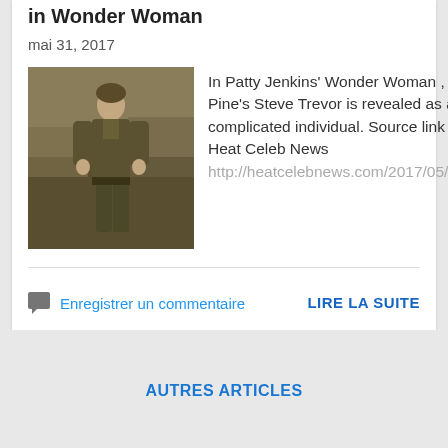in Wonder Woman
mai 31, 2017
[Figure (photo): A soldier figure in military uniform, outdoors scene]
In Patty Jenkins' Wonder Woman , Chris Pine's Steve Trevor is revealed as a complicated individual. Source link from Heat Celeb News http://heatcelebnews.com/2017/05/31/tc...
Enregistrer un commentaire
LIRE LA SUITE
AUTRES ARTICLES
Fourni par Blogger